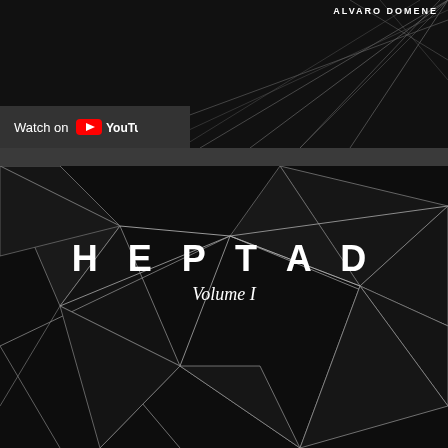ALVARO DOMENE
[Figure (screenshot): YouTube 'Watch on YouTube' button bar over dark geometric background with white lines]
[Figure (illustration): Album art for HEPTAD Volume I — dark black background with white geometric triangulated line pattern, bold white text reading HEPTAD Volume I centered]